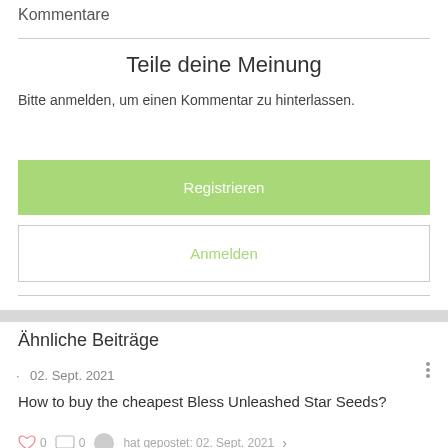Kommentare
Teile deine Meinung
Bitte anmelden, um einen Kommentar zu hinterlassen.
Registrieren
Anmelden
Ähnliche Beiträge
02. Sept. 2021
How to buy the cheapest Bless Unleashed Star Seeds?